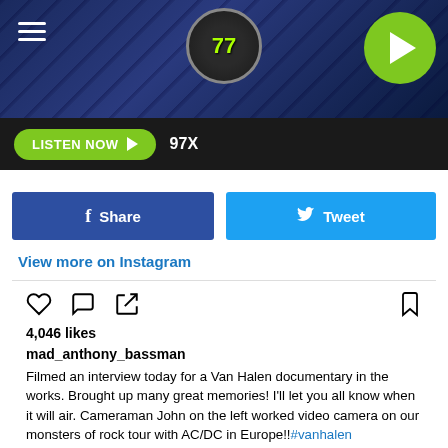[Figure (screenshot): Radio station header banner with dark blue metallic background, hamburger menu icon on left, circular logo in center with '77' text, green play button on right]
LISTEN NOW ▶  97X
f  Share
🐦  Tweet
View more on Instagram
4,046 likes
mad_anthony_bassman
Filmed an interview today for a Van Halen documentary in the works. Brought up many great memories! I'll let you all know when it will air. Cameraman John on the left worked video camera on our monsters of rock tour with AC/DC in Europe!!#vanhalen #rememberingthebesttimes #VHROCKED #greatmemories
view all 194 comments
Add a comment